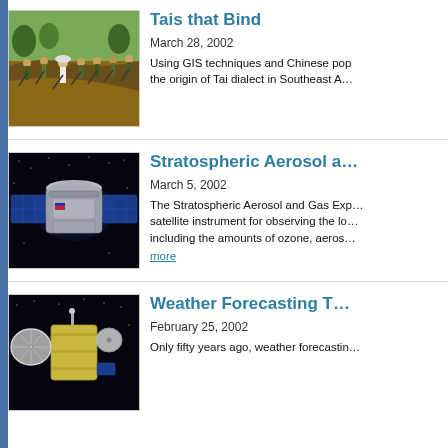[Figure (photo): People farming/digging in a field, row of workers with hoes]
Tais that Bind
March 28, 2002
Using GIS techniques and Chinese pop... the origin of Tai dialect in Southeast A...
[Figure (photo): Satellite or spacecraft with solar panels against dark starry background]
Stratospheric Aerosol a...
March 5, 2002
The Stratospheric Aerosol and Gas Exp... satellite instrument for observing the lo... including the amounts of ozone, aeros...
more
[Figure (photo): Satellite with large dish antennas against dark background]
Weather Forecasting T...
February 25, 2002
Only fifty years ago, weather forecastin...